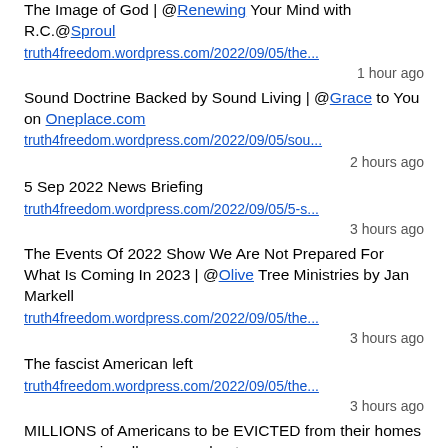The Image of God | @Renewing Your Mind with R.C.@Sproul truth4freedom.wordpress.com/2022/09/05/the...
1 hour ago
Sound Doctrine Backed by Sound Living | @Grace to You on Oneplace.com truth4freedom.wordpress.com/2022/09/05/sou...
2 hours ago
5 Sep 2022 News Briefing
truth4freedom.wordpress.com/2022/09/05/5-s...
3 hours ago
The Events Of 2022 Show We Are Not Prepared For What Is Coming In 2023 | @Olive Tree Ministries by Jan Markell
truth4freedom.wordpress.com/2022/09/05/the...
3 hours ago
The fascist American left
truth4freedom.wordpress.com/2022/09/05/the...
3 hours ago
MILLIONS of Americans to be EVICTED from their homes as economic collapse accelerates
truth4freedom.wordpress.com/2022/09/05/mil...